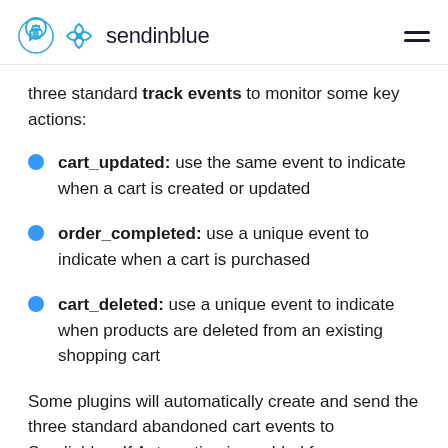sendinblue
three standard track events to monitor some key actions:
cart_updated: use the same event to indicate when a cart is created or updated
order_completed: use a unique event to indicate when a cart is purchased
cart_deleted: use a unique event to indicate when products are deleted from an existing shopping cart
Some plugins will automatically create and send the three standard abandoned cart events to Sendinblue. If Automation is enabled for your